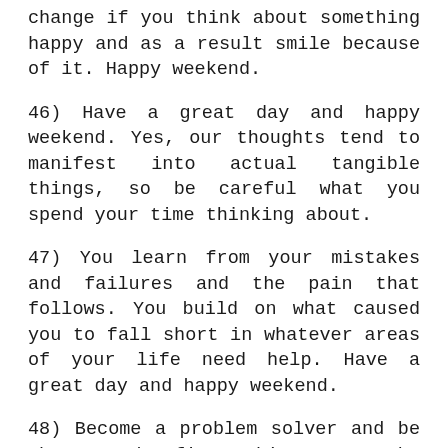change if you think about something happy and as a result smile because of it. Happy weekend.
46) Have a great day and happy weekend. Yes, our thoughts tend to manifest into actual tangible things, so be careful what you spend your time thinking about.
47) You learn from your mistakes and failures and the pain that follows. You build on what caused you to fall short in whatever areas of your life need help. Have a great day and happy weekend.
48) Become a problem solver and be the one who fixes things; not the one who creates the problems time and time again. Work hard on your present day self and it will without a doubt create a better future you. Goodnight and happy